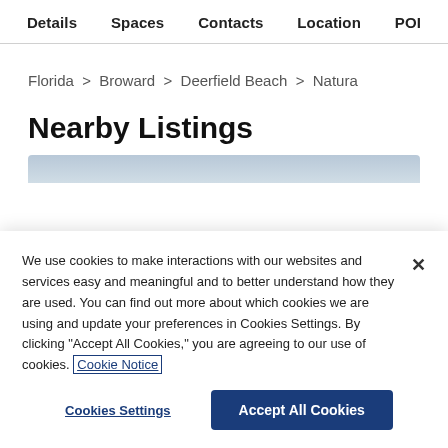Details  Spaces  Contacts  Location  POI
Florida > Broward > Deerfield Beach > Natura
Nearby Listings
[Figure (photo): Partial view of a property or listing image, cropped at bottom]
We use cookies to make interactions with our websites and services easy and meaningful and to better understand how they are used. You can find out more about which cookies we are using and update your preferences in Cookies Settings. By clicking "Accept All Cookies," you are agreeing to our use of cookies. Cookie Notice
Cookies Settings
Accept All Cookies